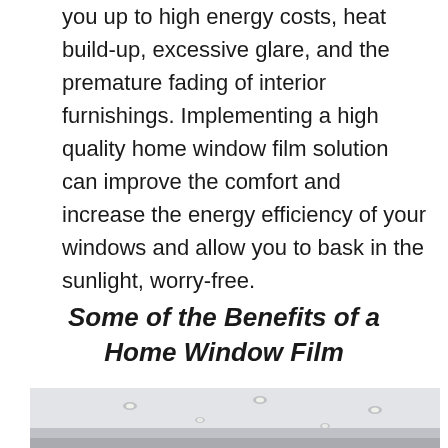you up to high energy costs, heat build-up, excessive glare, and the premature fading of interior furnishings. Implementing a high quality home window film solution can improve the comfort and increase the energy efficiency of your windows and allow you to bask in the sunlight, worry-free.
Some of the Benefits of a Home Window Film
[Figure (photo): Interior room photo showing a bright white ceiling with recessed downlights, suggesting a modern, well-lit interior space. The image is cropped at the bottom of the page.]